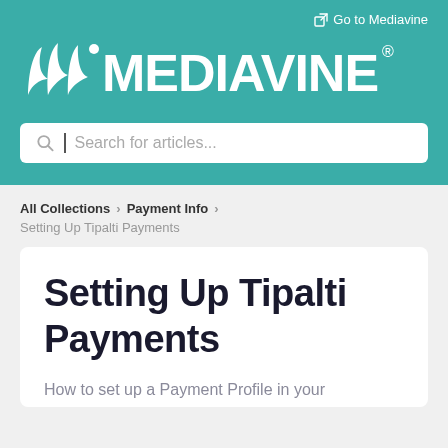[Figure (logo): Mediavine logo with leaf icon, white text on teal background]
Go to Mediavine
Search for articles...
All Collections > Payment Info >
Setting Up Tipalti Payments
Setting Up Tipalti Payments
How to set up a Payment Profile in your